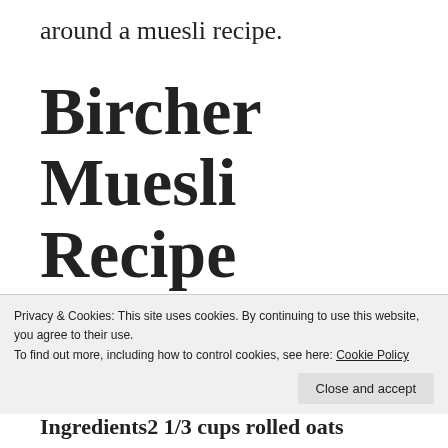around a muesli recipe.
Bircher Muesli Recipe
A healthy breakfast from Food Network
Privacy & Cookies: This site uses cookies. By continuing to use this website, you agree to their use.
To find out more, including how to control cookies, see here: Cookie Policy
Close and accept
Ingredients2 1/3 cups rolled oats